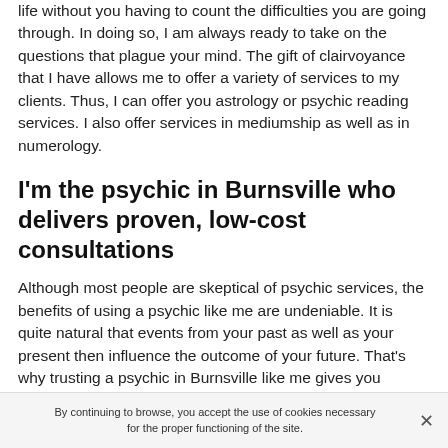life without you having to count the difficulties you are going through. In doing so, I am always ready to take on the questions that plague your mind. The gift of clairvoyance that I have allows me to offer a variety of services to my clients. Thus, I can offer you astrology or psychic reading services. I also offer services in mediumship as well as in numerology.
I'm the psychic in Burnsville who delivers proven, low-cost consultations
Although most people are skeptical of psychic services, the benefits of using a psychic like me are undeniable. It is quite natural that events from your past as well as your present then influence the outcome of your future. That's why trusting a psychic in Burnsville like me gives you certainty and serenity in the future.
By continuing to browse, you accept the use of cookies necessary for the proper functioning of the site.